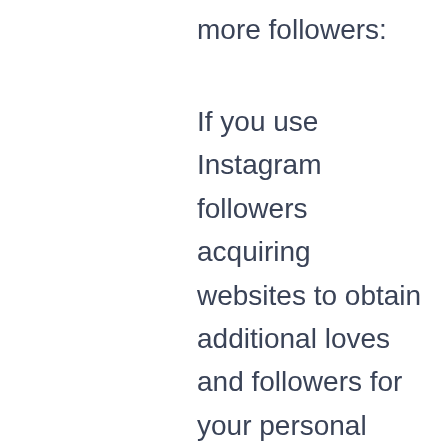more followers:
If you use Instagram followers acquiring websites to obtain additional loves and followers for your personal company accounts, you get a number of pros and it will become quite a fairly easy factor for you to kick enhance your advertising and marketing strategies. Advertising is not really an easy job nowadays, but if you